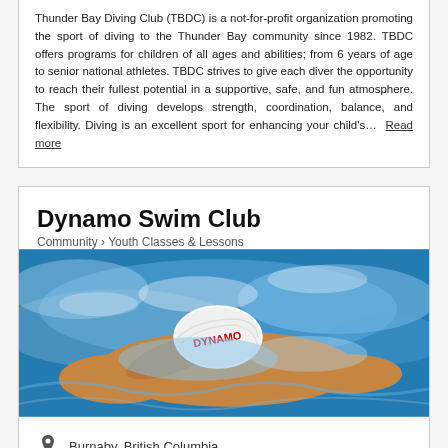Thunder Bay Diving Club (TBDC) is a not-for-profit organization promoting the sport of diving to the Thunder Bay community since 1982. TBDC offers programs for children of all ages and abilities; from 6 years of age to senior national athletes. TBDC strives to give each diver the opportunity to reach their fullest potential in a supportive, safe, and fun atmosphere. The sport of diving develops strength, coordination, balance, and flexibility. Diving is an excellent sport for enhancing your child's… Read more
Dynamo Swim Club
Community › Youth Classes & Lessons
[Figure (photo): Swimmer in a pool wearing a white swim cap with 'DYNAMO' written in red, swimming through splashing blue water.]
Burnaby, British Columbia
Business can travel to you